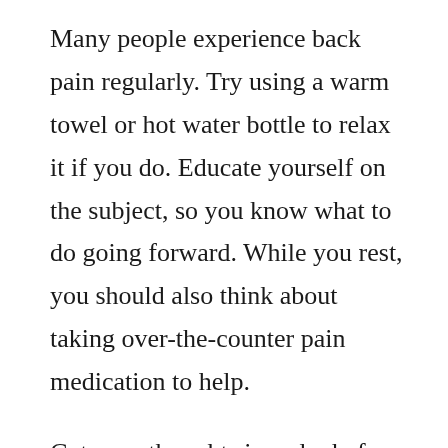Many people experience back pain regularly. Try using a warm towel or hot water bottle to relax it if you do. Educate yourself on the subject, so you know what to do going forward. While you rest, you should also think about taking over-the-counter pain medication to help.
Get your thoughts in order before sitting down with a prospective personal injury attorney. If you are not knowledgeable, the lawyer may not want to work with you. If the